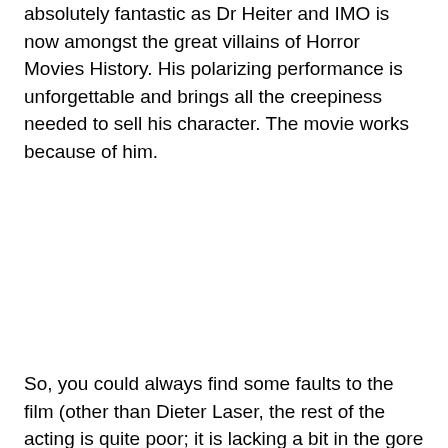absolutely fantastic as Dr Heiter and IMO is now amongst the great villains of Horror Movies History. His polarizing performance is unforgettable and brings all the creepiness needed to sell his character. The movie works because of him.
So, you could always find some faults to the film (other than Dieter Laser, the rest of the acting is quite poor; it is lacking a bit in the gore department) but as far as Indie Horror goes, this is